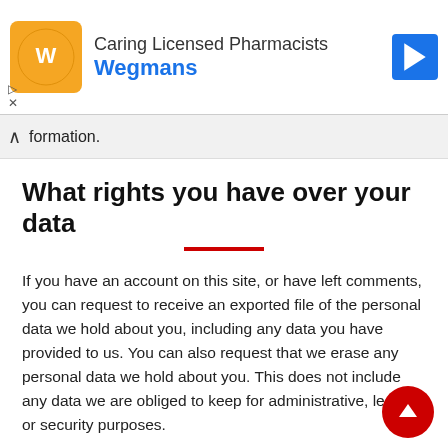[Figure (other): Wegmans advertisement banner with orange logo, 'Caring Licensed Pharmacists' text, 'Wegmans' in blue, and a blue direction arrow icon]
formation.
What rights you have over your data
If you have an account on this site, or have left comments, you can request to receive an exported file of the personal data we hold about you, including any data you have provided to us. You can also request that we erase any personal data we hold about you. This does not include any data we are obliged to keep for administrative, legal, or security purposes.
Where we send your data